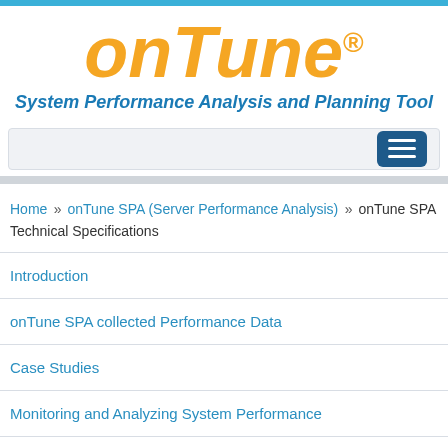onTune® System Performance Analysis and Planning Tool
[Figure (screenshot): Navigation hamburger menu button (dark blue rounded rectangle with three white horizontal lines)]
Home » onTune SPA (Server Performance Analysis) » onTune SPA Technical Specifications
Introduction
onTune SPA collected Performance Data
Case Studies
Monitoring and Analyzing System Performance
IBM Virtualization (Monitoring resource usage)